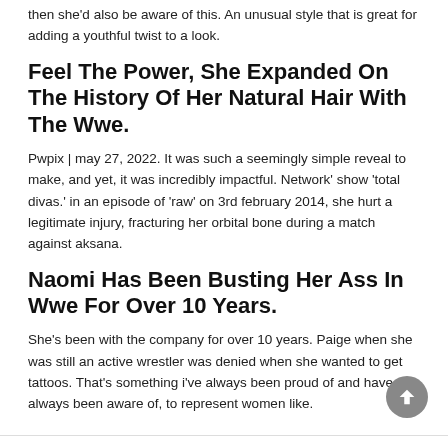then she'd also be aware of this. An unusual style that is great for adding a youthful twist to a look.
Feel The Power, She Expanded On The History Of Her Natural Hair With The Wwe.
Pwpix | may 27, 2022. It was such a seemingly simple reveal to make, and yet, it was incredibly impactful. Network' show 'total divas.' in an episode of 'raw' on 3rd february 2014, she hurt a legitimate injury, fracturing her orbital bone during a match against aksana.
Naomi Has Been Busting Her Ass In Wwe For Over 10 Years.
She's been with the company for over 10 years. Paige when she was still an active wrestler was denied when she wanted to get tattoos. That's something i've always been proud of and have always been aware of, to represent women like.